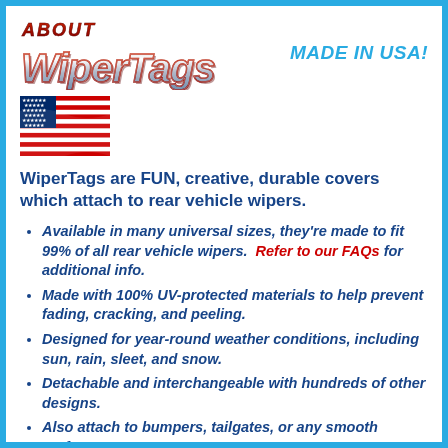[Figure (logo): About WiperTags logo with stylized chrome/metallic lettering, and 'MADE IN USA!' text in blue italic bold to the right]
[Figure (illustration): American flag waving illustration]
WiperTags are FUN, creative, durable covers which attach to rear vehicle wipers.
Available in many universal sizes, they're made to fit 99% of all rear vehicle wipers. Refer to our FAQs for additional info.
Made with 100% UV-protected materials to help prevent fading, cracking, and peeling.
Designed for year-round weather conditions, including sun, rain, sleet, and snow.
Detachable and interchangeable with hundreds of other designs.
Also attach to bumpers, tailgates, or any smooth surface.
Window decals are laminated and UV protected with an easy peel removable backing to prevent sticky adhesive left on your vehicle. (if...